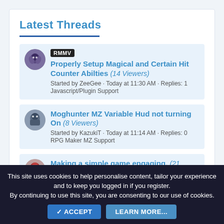Latest Threads
RMMV Properly Setup Magical and Certain Hit Counter Abilties (14 Viewers) Started by ZeeGee · Today at 11:30 AM · Replies: 1 Javascript/Plugin Support
Moghunter MZ Variable Hud not turning On (8 Viewers) Started by KazukiT · Today at 11:14 AM · Replies: 0 RPG Maker MZ Support
Making a simple game engaging. (21 Viewers) Started by brawlers · Today at 11:08 AM · Replies: 10 General Discussion
This site uses cookies to help personalise content, tailor your experience and to keep you logged in if you register. By continuing to use this site, you are consenting to our use of cookies.